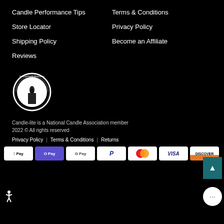Candle Performance Tips
Terms & Conditions
Store Locator
Privacy Policy
Shipping Policy
Become an Affiliate
Reviews
[Figure (logo): National Candle Association circular logo with candle flame icon]
Candle-lite is a National Candle Association member
2022 © All rights reserved
Privacy Policy | Terms & Conditions | Returns
[Figure (infographic): Payment method badges: Apple Pay, OPay, Google Pay, PayPal, Mastercard, Visa, Discover]